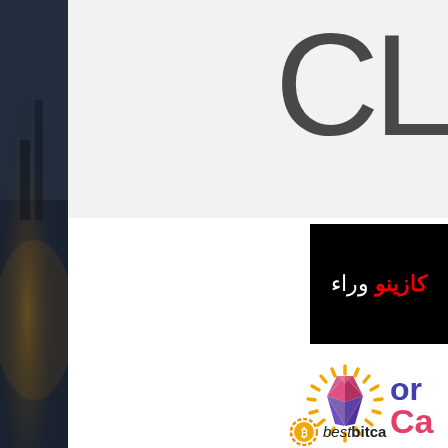[Figure (photo): Dark atmospheric photo strip on the left edge, showing a moody scene with dark blues and grays]
[Figure (logo): Large partial letters 'CL' in light gray sans-serif font on light background, top right]
[Figure (logo): Black banner with Arabic text: white and red Arabic words meaning 'casino' and another Arabic word]
[Figure (logo): Colorful gem/diamond logo with golden sunburst rays and pink/purple diamond shape, with partial text 'or ca' in purple and pink]
[Figure (logo): bestbitcasino logo with orange Bitcoin coin icon and text 'bestbitca...' partially visible]